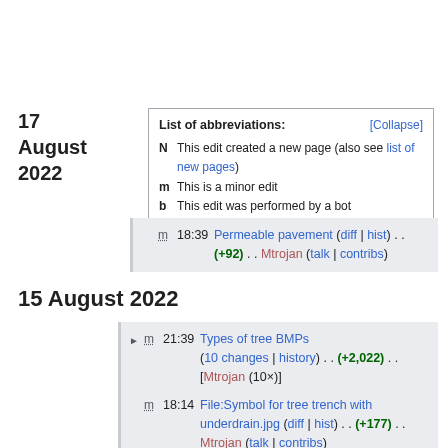17 August 2022
List of abbreviations: [Collapse]
N  This edit created a new page (also see list of new pages)
m  This is a minor edit
b  This edit was performed by a bot
(±123)  The page size changed by this number of bytes
m  18:39  Permeable pavement (diff | hist) . . (+92) . . Mtrojan (talk | contribs)
15 August 2022
m  21:39  Types of tree BMPs (10 changes | history) . . (+2,022) . . [Mtrojan (10×)]
m  18:14  File:Symbol for tree trench with underdrain.jpg (diff | hist) . . (+177) . . Mtrojan (talk | contribs)